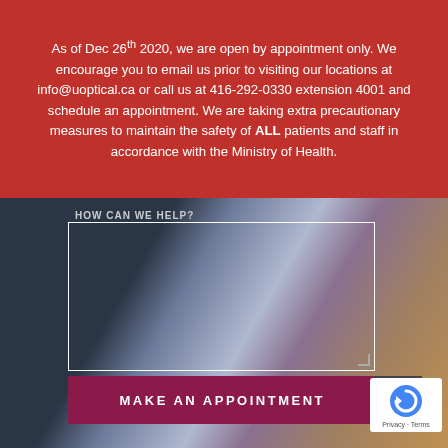As of Dec 26th 2020, we are open by appointment only. We encourage you to email us prior to visiting our locations at info@uoptical.ca or call us at 416-292-0330 extension 4001 and schedule an appointment. We are taking extra precautionary measures to maintain the safety of ALL patients and staff in accordance with the Ministry of Health.
HOW CAN WE HELP?
Yes, sign me up for your newsletter
MAKE AN APPOINTMENT